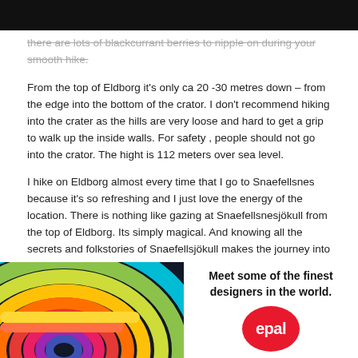there are lots of blackcurrant berries to nipple on during your smooth hike.
From the top of Eldborg it's only ca 20 -30 metres down – from the edge into the bottom of the crator. I don't recommend hiking into the crater as the hills are very loose and hard to get a grip to walk up the inside walls. For safety , people should not go into the crator. The hight is 112 meters over sea level.
I hike on Eldborg almost every time that I go to Snaefellsnes because it's so refreshing and I just love the energy of the location. There is nothing like gazing at Snaefellsnesjökull from the top of Eldborg. Its simply magical. And knowing all the secrets and folkstories of Snaefellsjökull makes the journey into Snaefellsnes peninsula even more adventurous.
[Figure (illustration): Colorful abstract concentric shapes advertisement image with rainbow-colored arching forms on dark background, alongside text 'Meet some of the finest designers in the world.' and a red circular logo reading 'epal']